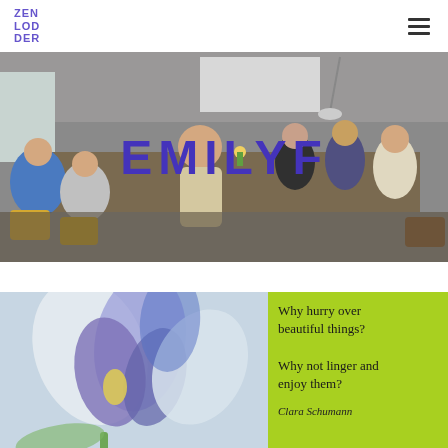[Figure (logo): ZEN LOD DER logo in purple block letters]
[Figure (photo): Group of people sitting around a table in a room, with text overlay EMILYF in large bold purple letters]
[Figure (photo): Close-up photo of a purple iris flower with a green quote box overlay reading: Why hurry over beautiful things? Why not linger and enjoy them? Clara Schumann]